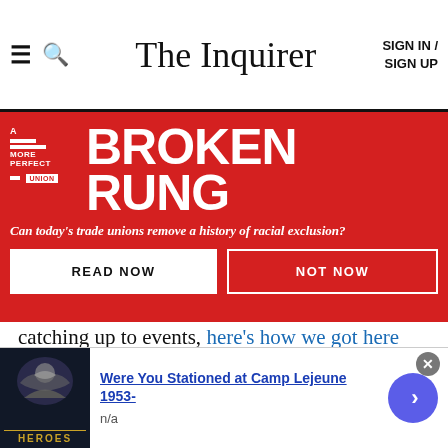The Inquirer | SIGN IN / SIGN UP
[Figure (infographic): Red promotional banner for 'A More Perfect Union: Broken Rung' with subtitle 'Can today's trade unions remove a history of racial exclusion?' and two buttons: 'READ NOW' and 'NOT NOW']
catching up to events, here's how we got here While the world watches the attack unfold, you may be wondering what you can do to help.
Here are some groups currently helping people in Ukraine.
[Figure (infographic): Bottom advertisement: Heroes campaign ad with eagle logo. 'Were You Stationed at Camp Lejeune 1953-' with 'n/a' below. Blue arrow button on right. Close (x) button top right.]